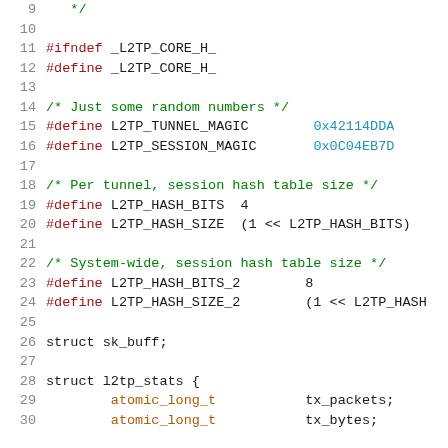Source code listing of L2TP core header file, lines 9-30, showing preprocessor directives, magic number definitions, hash table size definitions, and struct declarations.